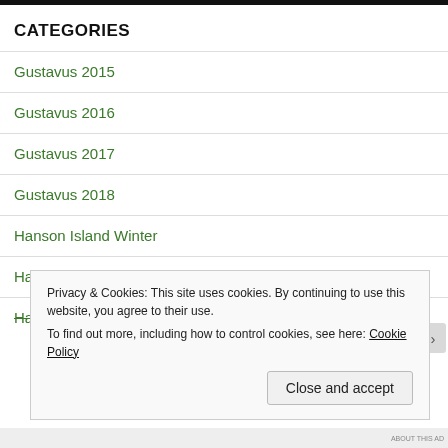CATEGORIES
Gustavus 2015
Gustavus 2016
Gustavus 2017
Gustavus 2018
Hanson Island Winter
Hanson Island Winter 2
Hanson Island Winter 3
Privacy & Cookies: This site uses cookies. By continuing to use this website, you agree to their use.
To find out more, including how to control cookies, see here: Cookie Policy
Close and accept